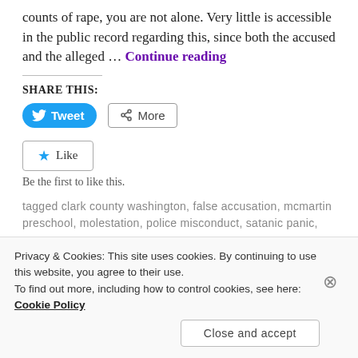counts of rape, you are not alone. Very little is accessible in the public record regarding this, since both the accused and the alleged … Continue reading
SHARE THIS:
[Figure (other): Tweet button and More share button]
[Figure (other): Like button widget with star icon]
Be the first to like this.
tagged clark county washington, false accusation, mcmartin preschool, molestation, police misconduct, satanic panic,
Privacy & Cookies: This site uses cookies. By continuing to use this website, you agree to their use. To find out more, including how to control cookies, see here: Cookie Policy
Close and accept